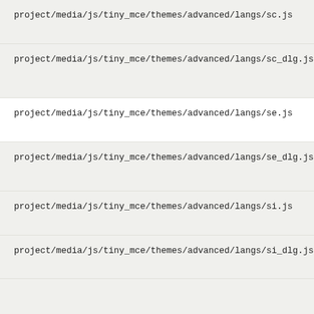project/media/js/tiny_mce/themes/advanced/langs/sc.js
project/media/js/tiny_mce/themes/advanced/langs/sc_dlg.js
project/media/js/tiny_mce/themes/advanced/langs/se.js
project/media/js/tiny_mce/themes/advanced/langs/se_dlg.js
project/media/js/tiny_mce/themes/advanced/langs/si.js
project/media/js/tiny_mce/themes/advanced/langs/si_dlg.js